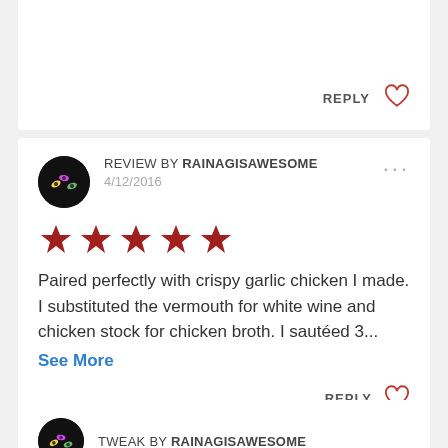REPLY ♡
REVIEW BY RAINAGISAWESOME
4/12/2016
[Figure (other): Five red filled stars rating]
Paired perfectly with crispy garlic chicken I made. I substituted the vermouth for white wine and chicken stock for chicken broth. I sautéed 3...
See More
REPLY ♡
TWEAK BY RAINAGISAWESOME